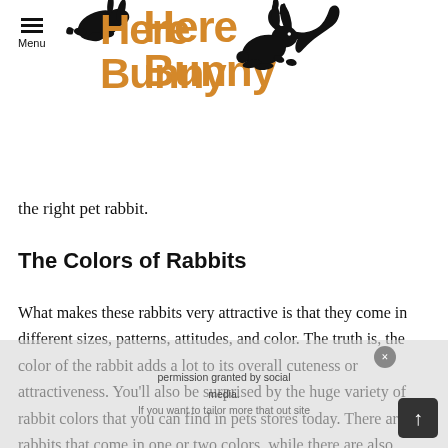Menu | Here Bunny (logo with rabbit silhouette)
the right pet rabbit.
The Colors of Rabbits
What makes these rabbits very attractive is that they come in different sizes, patterns, attitudes, and color. The truth is, the color of the rabbit adds a lot to its overall cuteness or attractiveness. You'll also be surprised by the huge variety of rabbit colors that you can find in pets stores today. There are rabbits that come in one or two colors, while there are also those